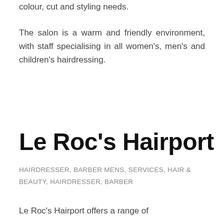colour, cut and styling needs.
The salon is a warm and friendly environment, with staff specialising in all women’s, men’s and children’s hairdressing.
Le Roc’s Hairport
HAIRDRESSER, BARBER MENS, SERVICES, HAIR & BEAUTY, HAIRDRESSER, BARBER
Le Roc’s Hairport offers a range of